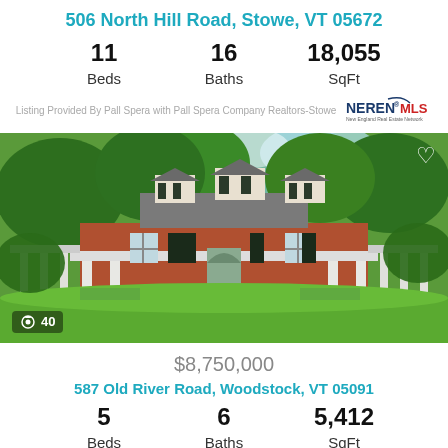506 North Hill Road, Stowe, VT 05672
11 Beds   16 Baths   18,055 SqFt
Listing Provided By Pall Spera with Pall Spera Company Realtors-Stowe
[Figure (photo): Exterior photo of a large colonial-style brick home with white columns and wraparound porch, surrounded by lush green trees and gardens. Photo count overlay: camera icon 40. Heart icon in top right corner.]
$8,750,000
587 Old River Road, Woodstock, VT 05091
5 Beds   6 Baths   5,412 SqFt